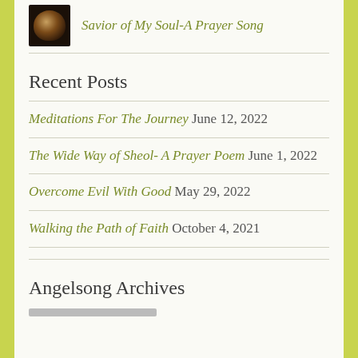[Figure (photo): Small dark thumbnail image of a face or figure, likely a profile/avatar photo]
Savior of My Soul-A Prayer Song
Recent Posts
Meditations For The Journey June 12, 2022
The Wide Way of Sheol- A Prayer Poem June 1, 2022
Overcome Evil With Good May 29, 2022
Walking the Path of Faith October 4, 2021
Angelsong Archives